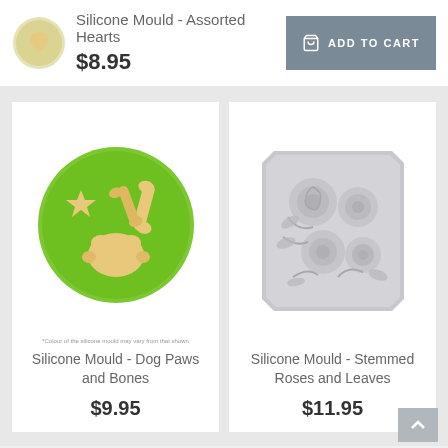[Figure (photo): Small thumbnail of heart-shaped silicone mould, greenish-tan colored]
Silicone Mould - Assorted Hearts
$8.95
ADD TO CART
[Figure (photo): Green circular silicone mould with dog paw and bone shapes in tan/cream color]
*Colour of the silicone mould may vary from that shown
Silicone Mould - Dog Paws and Bones
$9.95
[Figure (photo): Light grey rectangular silicone mould with stemmed roses and leaves design]
Silicone Mould - Stemmed Roses and Leaves
$11.95